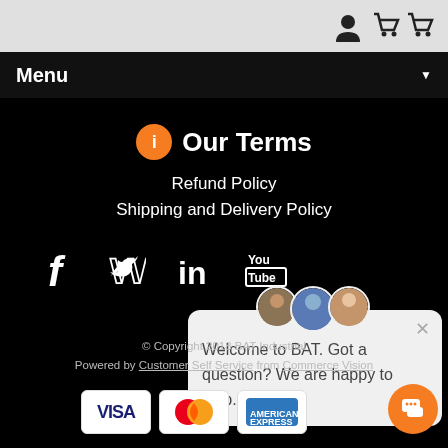[Figure (screenshot): Top navigation bar with grey background showing user icon and two shopping cart icons on the right side]
Menu
Our Terms
Refund Policy
Shipping and Delivery Policy
[Figure (infographic): Social media icons row: Facebook, Twitter, LinkedIn, YouTube on black background]
[Figure (screenshot): Chat popup with agent avatars saying: Welcome to BAT. Got a question? We are happy to help.]
© Copyright 2018 BAT Industrial
Powered by Customer Self Service from Commerce Vision
[Figure (infographic): Payment method icons: VISA, Mastercard, American Express]